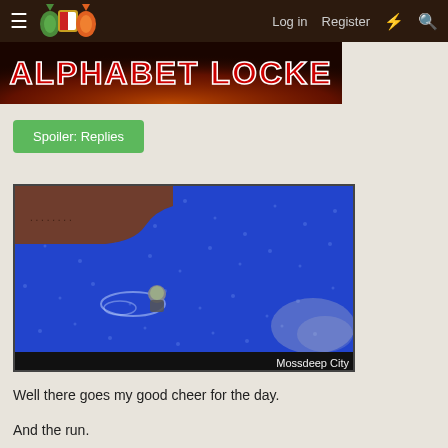≡  [Logo]  Log in  Register  ⚡  🔍
[Figure (screenshot): Alphabet Locke banner image with stylized text on dark fiery background]
Spoiler: Replies
[Figure (screenshot): Pokemon game screenshot showing player character surfing on blue water near Mossdeep City with brown land mass in top-left corner. Location label reads: Mossdeep City]
Well there goes my good cheer for the day.
And the run.